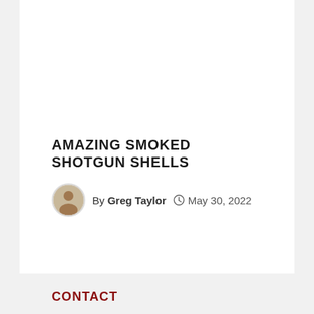AMAZING SMOKED SHOTGUN SHELLS
By Greg Taylor   May 30, 2022
CONTACT